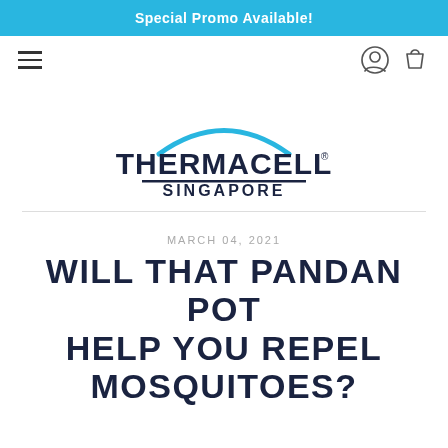Special Promo Available!
[Figure (logo): Thermacell Singapore logo with blue arc above bold dark navy text THERMACELL and SINGAPORE below a horizontal line]
MARCH 04, 2021
WILL THAT PANDAN POT HELP YOU REPEL MOSQUITOES?